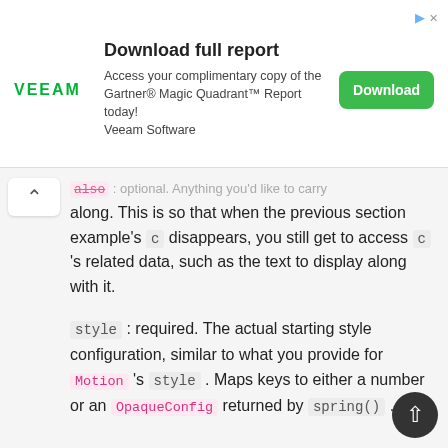[Figure (other): Veeam advertisement banner: Download full report. Access your complimentary copy of the Gartner® Magic Quadrant™ Report today! Veeam Software. Download button.]
along. This is so that when the previous section example's c disappears, you still get to access c 's related data, such as the text to display along with it.
style : required. The actual starting style configuration, similar to what you provide for Motion 's style . Maps keys to either a number or an OpaqueConfig returned by spring() .
TransitionPlainStyle : similar to above, except the style field's value is of type PlainStyle , aka an object that maps to numbers.